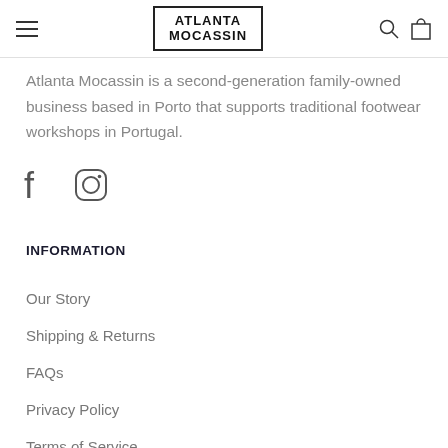ATLANTA MOCASSIN
Atlanta Mocassin is a second-generation family-owned business based in Porto that supports traditional footwear workshops in Portugal.
[Figure (logo): Facebook and Instagram social media icons]
INFORMATION
Our Story
Shipping & Returns
FAQs
Privacy Policy
Terms of Service